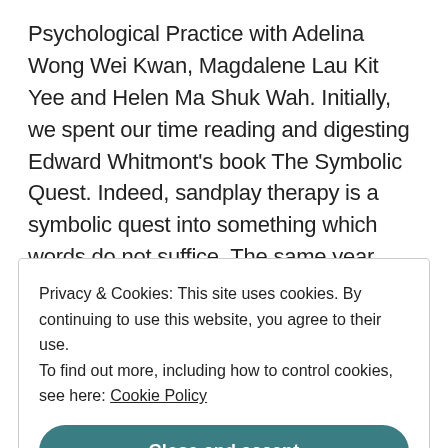Psychological Practice with Adelina Wong Wei Kwan, Magdalene Lau Kit Yee and Helen Ma Shuk Wah. Initially, we spent our time reading and digesting Edward Whitmont's book The Symbolic Quest. Indeed, sandplay therapy is a symbolic quest into something which words do not suffice. The same year around Christmas time, we invited Harriet Friedman from the United States to give us a workshop on sandplay therapy and eight people attended. This became a small seed that
Privacy & Cookies: This site uses cookies. By continuing to use this website, you agree to their use.
To find out more, including how to control cookies, see here: Cookie Policy
Close and accept
Christina Chong (admin)